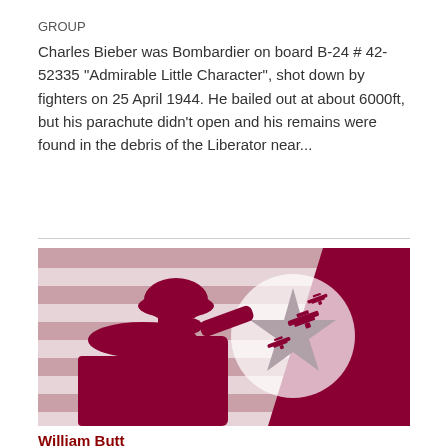GROUP
Charles Bieber was Bombardier on board B-24 # 42-52335 "Admirable Little Character", shot down by fighters on 25 April 1944. He bailed out at about 6000ft, but his parachute didn't open and his remains were found in the debris of the Liberator near...
[Figure (illustration): Stylized illustration of a WWII soldier silhouette saluting, with stripes and a circular star emblem in the background, and silhouettes of bomber aircraft flying. Colors are crimson/dark red and muted pink/mauve on white stripes.]
William Butt